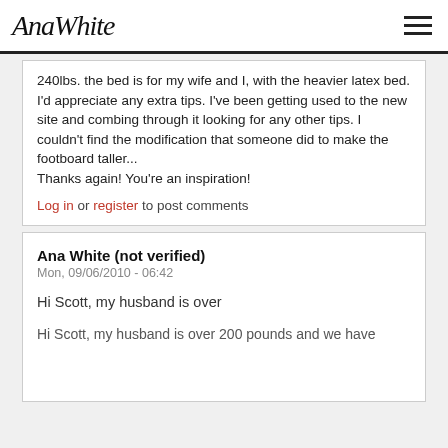Ana White
240lbs. the bed is for my wife and I, with the heavier latex bed. I'd appreciate any extra tips. I've been getting used to the new site and combing through it looking for any other tips. I couldn't find the modification that someone did to make the footboard taller...
Thanks again! You're an inspiration!
Log in or register to post comments
Ana White (not verified)
Mon, 09/06/2010 - 06:42
Hi Scott, my husband is over
Hi Scott, my husband is over 200 pounds and we have